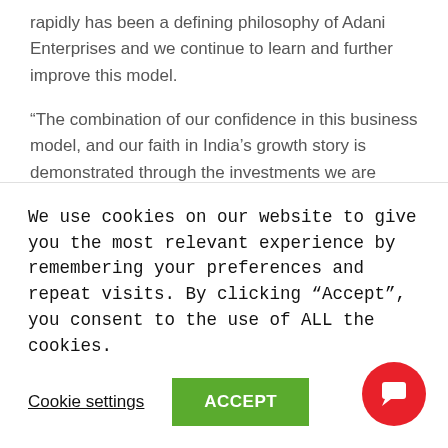rapidly has been a defining philosophy of Adani Enterprises and we continue to learn and further improve this model.
“The combination of our confidence in this business model, and our faith in India’s growth story is demonstrated through the investments we are continuing to make in additional infrastructure sectors that are critical to nation building.”
Further, he said that the move into roads and water infrastructure, data centre parks, and airports, including the addition of the Mumbai International Airport and the Navi
We use cookies on our website to give you the most relevant experience by remembering your preferences and repeat visits. By clicking “Accept”, you consent to the use of ALL the cookies.
Cookie settings
ACCEPT